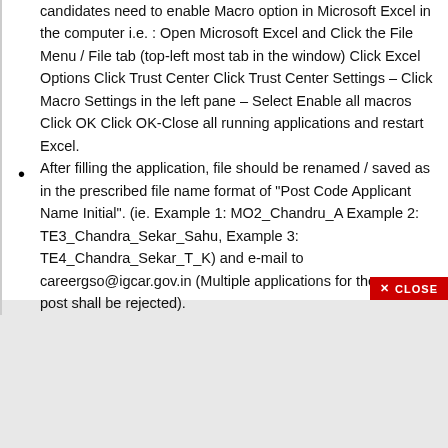candidates need to enable Macro option in Microsoft Excel in the computer i.e. : Open Microsoft Excel and Click the File Menu / File tab (top-left most tab in the window) Click Excel Options Click Trust Center Click Trust Center Settings – Click Macro Settings in the left pane – Select Enable all macros Click OK Click OK-Close all running applications and restart Excel.
After filling the application, file should be renamed / saved as in the prescribed file name format of "Post Code Applicant Name Initial". (ie. Example 1: MO2_Chandru_A Example 2: TE3_Chandra_Sekar_Sahu, Example 3: TE4_Chandra_Sekar_T_K) and e-mail to careergso@igcar.gov.in (Multiple applications for the same post shall be rejected).